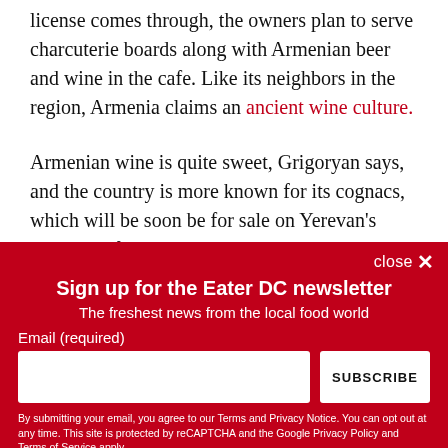license comes through, the owners plan to serve charcuterie boards along with Armenian beer and wine in the cafe. Like its neighbors in the region, Armenia claims an ancient wine culture.
Armenian wine is quite sweet, Grigoryan says, and the country is more known for its cognacs, which will be soon be for sale on Yerevan’s shelves. “If we would open an
Sign up for the Eater DC newsletter
The freshest news from the local food world
Email (required)
SUBSCRIBE
By submitting your email, you agree to our Terms and Privacy Notice. You can opt out at any time. This site is protected by reCAPTCHA and the Google Privacy Policy and Terms of Service apply.